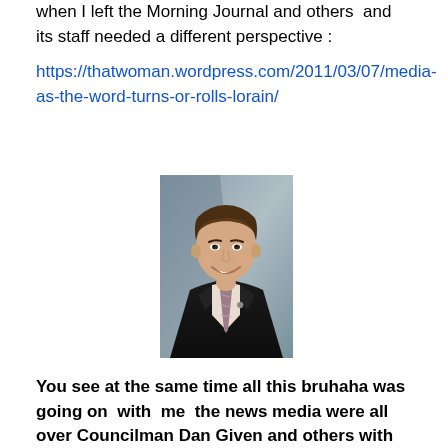when I left the Morning Journal and others  and its staff needed a different perspective :
https://thatwoman.wordpress.com/2011/03/07/media-as-the-word-turns-or-rolls-lorain/
[Figure (photo): Professional headshot of a man in a dark suit with a tie, smiling, against a grey background]
You see at the same time all this bruhaha was going on  with  me  the news media were all over Councilman Dan Given and others with  the Community  Reinvestment Areas. This too had its